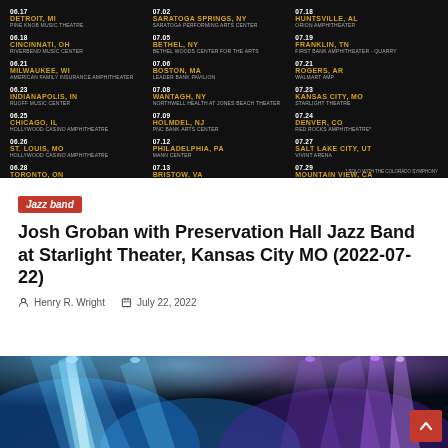[Figure (other): Concert tour schedule banner on black background listing dates, cities, and venues in three columns. Cities in gold/yellow, venues in gray. Dates range from 06.17 to 08.02.]
Jazz band
Josh Groban with Preservation Hall Jazz Band at Starlight Theater, Kansas City MO (2022-07-22)
Henry R. Wright   July 22, 2022
[Figure (photo): Concert stage photo with bright blue and purple stage lights and light beams radiating upward against a dark background.]